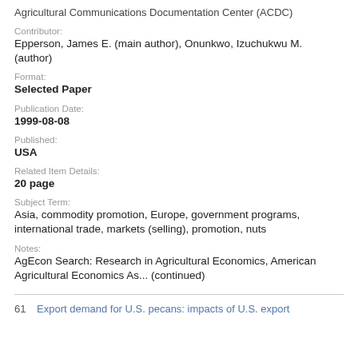Agricultural Communications Documentation Center (ACDC)
Contributor:
Epperson, James E. (main author), Onunkwo, Izuchukwu M. (author)
Format:
Selected Paper
Publication Date:
1999-08-08
Published:
USA
Related Item Details:
20 page
Subject Term:
Asia, commodity promotion, Europe, government programs, international trade, markets (selling), promotion, nuts
Notes:
AgEcon Search: Research in Agricultural Economics, American Agricultural Economics As... (continued)
61  Export demand for U.S. pecans: impacts of U.S. export